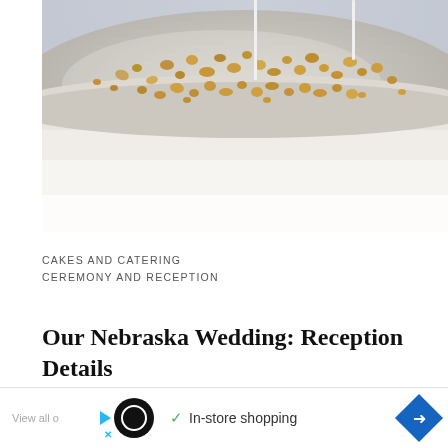[Figure (photo): Close-up photograph of a white frosted cake topped with chopped nuts, with two thin white sticks/candles inserted into the top. The background is blurred.]
CAKES AND CATERING
CEREMONY AND RECEPTION
Our Nebraska Wedding: Reception Details